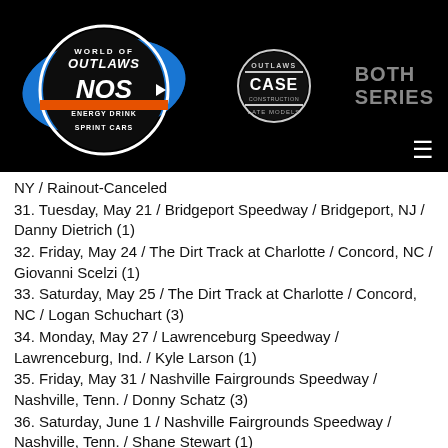[Figure (logo): World of Outlaws NOS Energy Drink Sprint Cars logo — circular emblem with blue paint stroke background, orange and black colors]
[Figure (logo): World of Outlaws CASE Construction Late Models logo — circular black and white emblem]
BOTH SERIES
NY / Rainout-Canceled
31. Tuesday, May 21 / Bridgeport Speedway / Bridgeport, NJ / Danny Dietrich (1)
32. Friday, May 24 / The Dirt Track at Charlotte / Concord, NC / Giovanni Scelzi (1)
33. Saturday, May 25 / The Dirt Track at Charlotte / Concord, NC / Logan Schuchart (3)
34. Monday, May 27 / Lawrenceburg Speedway / Lawrenceburg, Ind. / Kyle Larson (1)
35. Friday, May 31 / Nashville Fairgrounds Speedway / Nashville, Tenn. / Donny Schatz (3)
36. Saturday, June 1 / Nashville Fairgrounds Speedway / Nashville, Tenn. / Shane Stewart (1)
37. Tuesday, June 4 / Fairbury Speedway / Fairbury, Ill. /